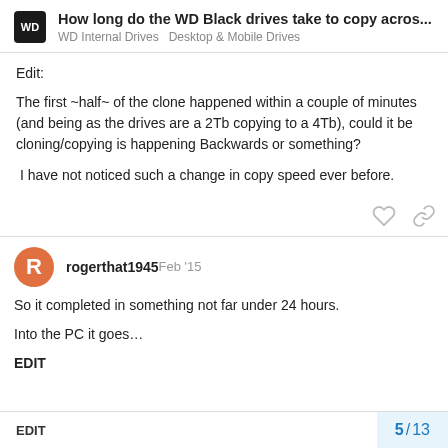How long do the WD Black drives take to copy acros... | WD Internal Drives > Desktop & Mobile Drives
Edit:
The first ~half~ of the clone happened within a couple of minutes (and being as the drives are a 2Tb copying to a 4Tb), could it be cloning/copying is happening Backwards or something?
I have not noticed such a change in copy speed ever before.
rogerthat1945 — Feb '15
So it completed in something not far under 24 hours.
Into the PC it goes…
EDIT
5 / 13